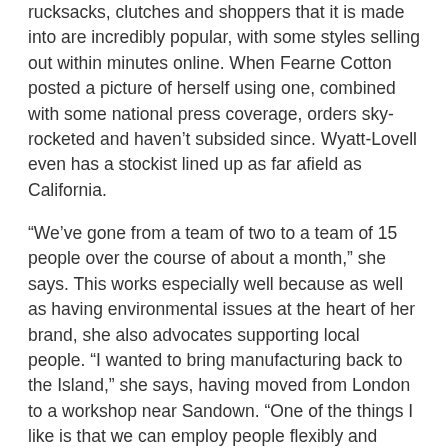rucksacks, clutches and shoppers that it is made into are incredibly popular, with some styles selling out within minutes online. When Fearne Cotton posted a picture of herself using one, combined with some national press coverage, orders sky-rocketed and haven't subsided since. Wyatt-Lovell even has a stockist lined up as far afield as California.
“We’ve gone from a team of two to a team of 15 people over the course of about a month,” she says. This works especially well because as well as having environmental issues at the heart of her brand, she also advocates supporting local people. “I wanted to bring manufacturing back to the Island,” she says, having moved from London to a workshop near Sandown. “One of the things I like is that we can employ people flexibly and above the living wage.”
Going in circles
Employing a good number of young people is